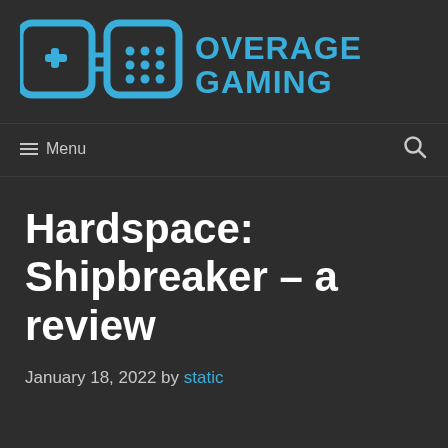[Figure (logo): Overage Gaming logo: two game controller icons in blue squares forming 'OG', with 'OVERAGE GAMING' text in bold blue to the right]
≡ Menu
Hardspace: Shipbreaker – a review
January 18, 2022 by static